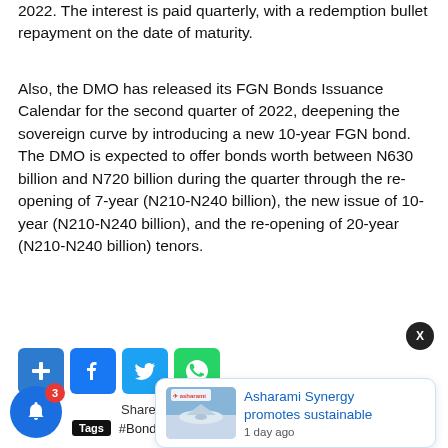2022. The interest is paid quarterly, with a redemption bullet repayment on the date of maturity.
Also, the DMO has released its FGN Bonds Issuance Calendar for the second quarter of 2022, deepening the sovereign curve by introducing a new 10-year FGN bond. The DMO is expected to offer bonds worth between N630 billion and N720 billion during the quarter through the re-opening of 7-year (N210-N240 billion), the new issue of 10-year (N210-N240 billion), and the re-opening of 20-year (N210-N240 billion) tenors.
[Figure (other): Social share buttons: Google+, Facebook, Twitter, WhatsApp]
Share on Facebook, Tweet ✉ Email
[Figure (other): Asharami Synergy promotes sustainable — article card overlay, 1 day ago]
Tags  #Bonds  #OMO bills  #T-bills